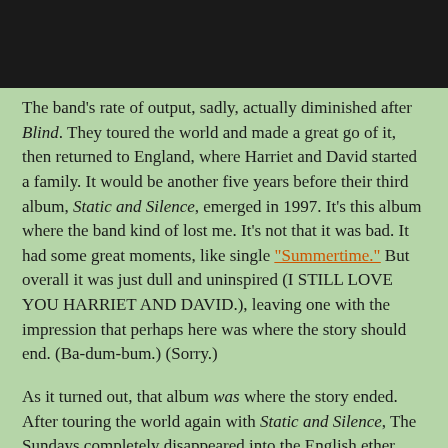[Figure (photo): Black rectangle at the top of the page, likely a cropped photo or image area.]
The band's rate of output, sadly, actually diminished after Blind. They toured the world and made a great go of it, then returned to England, where Harriet and David started a family. It would be another five years before their third album, Static and Silence, emerged in 1997. It's this album where the band kind of lost me. It's not that it was bad. It had some great moments, like single "Summertime." But overall it was just dull and uninspired (I STILL LOVE YOU HARRIET AND DAVID.), leaving one with the impression that perhaps here was where the story should end. (Ba-dum-bum.) (Sorry.)
As it turned out, that album was where the story ended. After touring the world again with Static and Silence, The Sundays completely disappeared into the English ether, and there's been no sign of the band in the last 17 years. At least there hadn't been until, bizarrely, they reemerged earlier this year in an issue of American Airlines' in-flight magazine American Way after that